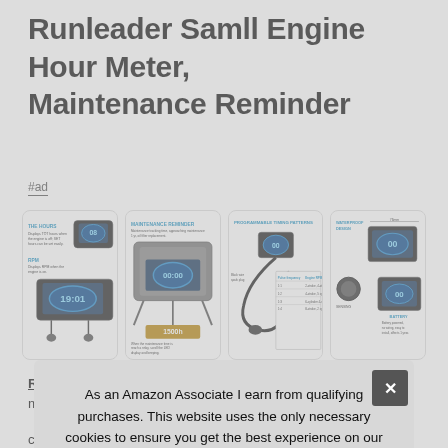Runleader Samll Engine Hour Meter, Maintenance Reminder
#ad
[Figure (photo): Four product images of the Runleader engine hour meter showing features: hour meter display, maintenance reminder wiring, programmable timing patterns, and waterproof/battery views]
Runleader #ad - Maintenance reminder–programmable mai... ser... the...
Tota... contains tachometer, hour meter, service timers; when engine
As an Amazon Associate I earn from qualifying purchases. This website uses the only necessary cookies to ensure you get the best experience on our website. More information